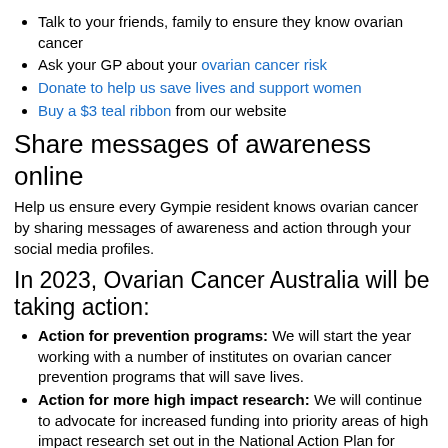Talk to your friends, family to ensure they know ovarian cancer
Ask your GP about your ovarian cancer risk
Donate to help us save lives and support women
Buy a $3 teal ribbon from our website
Share messages of awareness online
Help us ensure every Gympie resident knows ovarian cancer by sharing messages of awareness and action through your social media profiles.
In 2023, Ovarian Cancer Australia will be taking action:
Action for prevention programs: We will start the year working with a number of institutes on ovarian cancer prevention programs that will save lives.
Action for more high impact research: We will continue to advocate for increased funding into priority areas of high impact research set out in the National Action Plan for Ovarian Cancer Research and work to secure additional investment for critical research infrastructure such as the Australian Ovarian Cancer Study biobank.
Action towards better treatment: We will continue to support